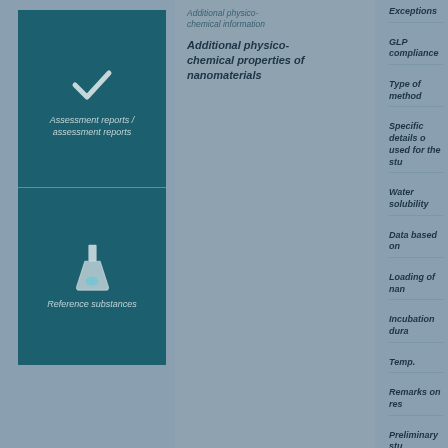[Figure (illustration): Teal box with two sections: top section has a checkmark icon and italic label 'Assessment reports / assessment reports', bottom section has a flask/beaker icon and italic label 'Reference substances']
Additional physico-chemical information
Additional physico-chemical properties of nanomaterials
Exceptions
GLP compliance
Type of method
Specific details on method used for the study
Water solubility
Data based on
Loading of nano
Incubation duration
Temp.
Remarks on results
Preliminary study